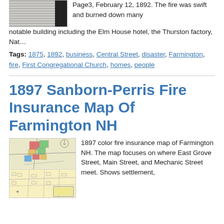[Figure (photo): Thumbnail of old newspaper page, black and white, with a black rectangle on right side.]
Page3, February 12, 1892. The fire was swift and burned down many notable building including the Elm House hotel, the Thurston factory, Nat…
Tags: 1875, 1892, business, Central Street, disaster, Farmington, fire, First Congregational Church, homes, people
1897 Sanborn-Perris Fire Insurance Map Of Farmington NH
[Figure (map): 1897 color fire insurance map of Farmington NH showing East Grove Street, Main Street, and Mechanic Street. Color-coded building outlines on map.]
1897 color fire insurance map of Farmington NH. The map focuses on where East Grove Street, Main Street, and Mechanic Street meet. Shows settlement,